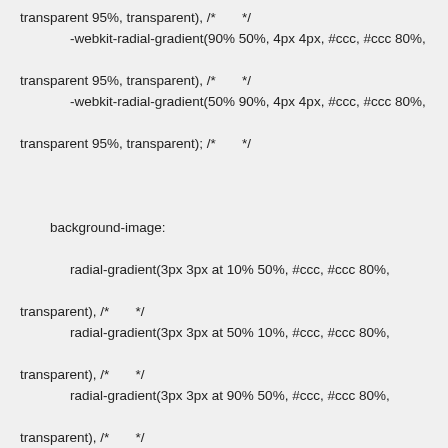transparent 95%, transparent), /* */ -webkit-radial-gradient(90% 50%, 4px 4px, #ccc, #ccc 80%, transparent 95%, transparent), /* */ -webkit-radial-gradient(50% 90%, 4px 4px, #ccc, #ccc 80%, transparent 95%, transparent); /* */
background-image: radial-gradient(3px 3px at 10% 50%, #ccc, #ccc 80%, transparent), /* */ radial-gradient(3px 3px at 50% 10%, #ccc, #ccc 80%, transparent), /* */ radial-gradient(3px 3px at 90% 50%, #ccc, #ccc 80%, transparent), /* */ radial-gradient(3px 3px at 50% 90%, #ccc, #ccc 80%, transparent); /* */